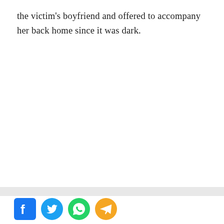the victim's boyfriend and offered to accompany her back home since it was dark.
[Figure (other): Social media share icons: Facebook (blue), Twitter (blue bird), WhatsApp (green), Telegram (blue/orange)]